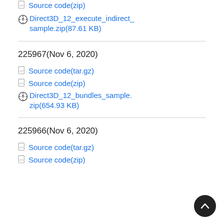Source code(zip)
Direct3D_12_execute_indirect_sample.zip(87.61 KB)
225967(Nov 6, 2020)
Source code(tar.gz)
Source code(zip)
Direct3D_12_bundles_sample.zip(654.93 KB)
225966(Nov 6, 2020)
Source code(tar.gz)
Source code(zip)